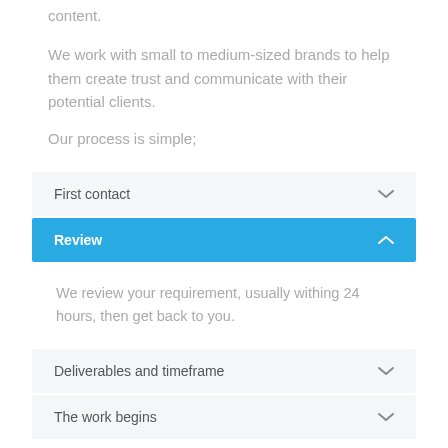content.
We work with small to medium-sized brands to help them create trust and communicate with their potential clients.
Our process is simple;
First contact
Review
We review your requirement, usually withing 24 hours, then get back to you.
Deliverables and timeframe
The work begins